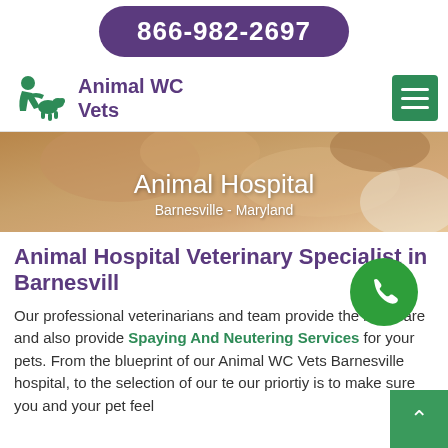866-982-2697
Animal WC Vets
[Figure (photo): Photo of a golden/tan dog (Animal Hospital hero image) with text overlay: Animal Hospital, Barnesville - Maryland]
Animal Hospital Veterinary Specialist in Barnesville
Our professional veterinarians and team provide the best care and also provide Spaying And Neutering Services for your pets. From the blueprint of our Animal WC Vets Barnesville hospital, to the selection of our team, our priortiy is to make sure you and your pet feel